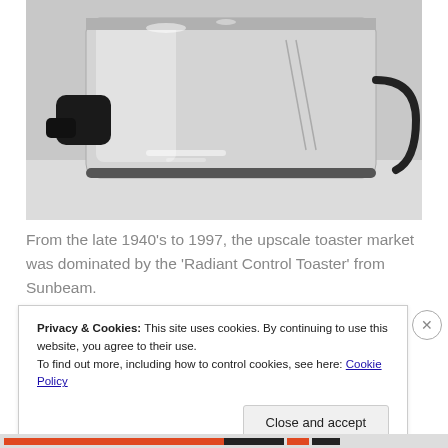[Figure (photo): Black and white close-up photo of a chrome toaster (Sunbeam Radiant Control Toaster) showing the shiny metallic body with a black lever handle on the left side, sitting on a white surface.]
From the late 1940's to 1997, the upscale toaster market was dominated by the 'Radiant Control Toaster' from Sunbeam.
Privacy & Cookies: This site uses cookies. By continuing to use this website, you agree to their use.
To find out more, including how to control cookies, see here: Cookie Policy